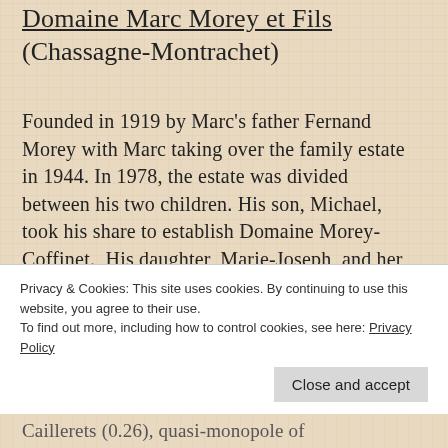Domaine Marc Morey et Fils (Chassagne-Montrachet)
Founded in 1919 by Marc's father Fernand Morey with Marc taking over the family estate in 1944. In 1978, the estate was divided between his two children. His son, Michael, took his share to establish Domaine Morey-Coffinet.  His daughter, Marie-Joseph, and her husband Bernard Mollard used their holdings to continue Domaine Marc Morey. Today, their
Privacy & Cookies: This site uses cookies. By continuing to use this website, you agree to their use.
To find out more, including how to control cookies, see here: Privacy Policy
Close and accept
Caillerets (0.26), quasi-monopole of